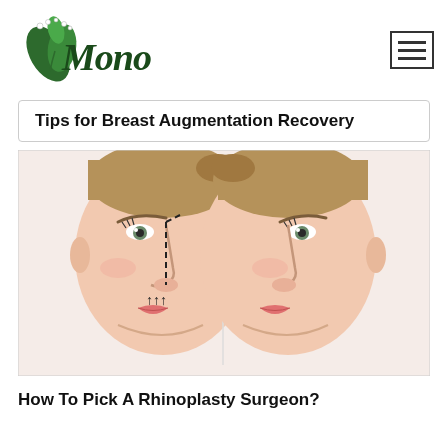[Figure (logo): Mono brand logo with botanical leaves illustration and cursive 'Mono' text in dark green]
[Figure (other): Hamburger menu icon: three horizontal lines in a bordered square]
Tips for Breast Augmentation Recovery
[Figure (photo): Before and after rhinoplasty illustration showing two side-profile views of a woman's face. Left profile has dashed surgical marking lines along the nose bridge and small arrows near the nose tip indicating reshaping. Right profile shows the result without markings.]
How To Pick A Rhinoplasty Surgeon?